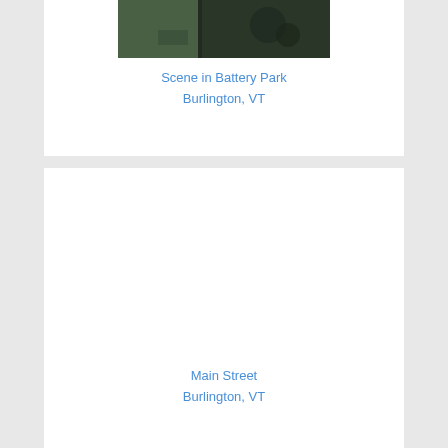[Figure (photo): Aerial or overhead dark photo showing a scene in Battery Park, Burlington VT — appears to show green terrain and dark shapes]
Scene in Battery Park
Burlington, VT
[Figure (photo): Empty white space representing a photo placeholder for Main Street, Burlington VT]
Main Street
Burlington, VT